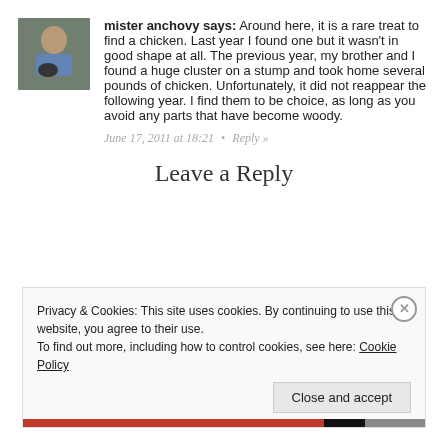[Figure (photo): Avatar photo of a person with a dog, outdoors]
mister anchovy says: Around here, it is a rare treat to find a chicken. Last year I found one but it wasn't in good shape at all. The previous year, my brother and I found a huge cluster on a stump and took home several pounds of chicken. Unfortunately, it did not reappear the following year. I find them to be choice, as long as you avoid any parts that have become woody.
June 17, 2011 at 18:21 • Reply »
Leave a Reply
Privacy & Cookies: This site uses cookies. By continuing to use this website, you agree to their use. To find out more, including how to control cookies, see here: Cookie Policy
Close and accept